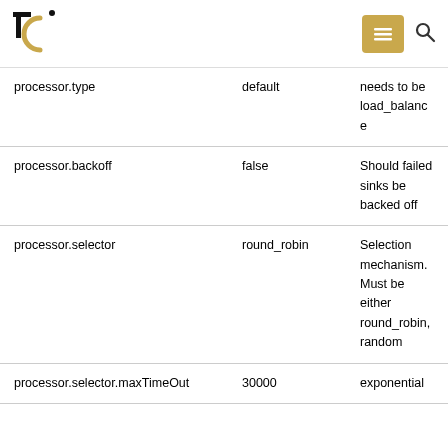tc logo | menu | search
| Property | Default | Description |
| --- | --- | --- |
| processor.type | default | needs to be load_balance |
| processor.backoff | false | Should failed sinks be backed off |
| processor.selector | round_robin | Selection mechanism. Must be either round_robin, random |
| processor.selector.maxTimeOut | 30000 | exponential |